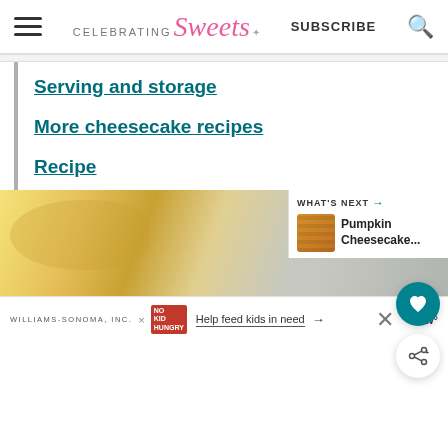Celebrating Sweets
Serving and storage
More cheesecake recipes
Recipe
[Figure (photo): Close-up photo of cheesecake, blurred background, yellow and cream tones]
WHAT'S NEXT → Pumpkin Cheesecake...
WILLIAMS-SONOMA, INC. × NO KID HUNGRY Help feed kids in need →